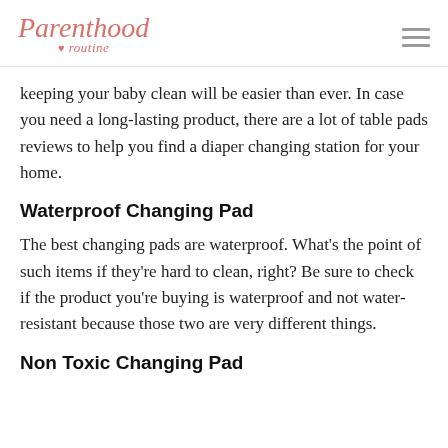Parenthood routine
keeping your baby clean will be easier than ever. In case you need a long-lasting product, there are a lot of table pads reviews to help you find a diaper changing station for your home.
Waterproof Changing Pad
The best changing pads are waterproof. What's the point of such items if they're hard to clean, right? Be sure to check if the product you're buying is waterproof and not water-resistant because those two are very different things.
Non Toxic Changing Pad